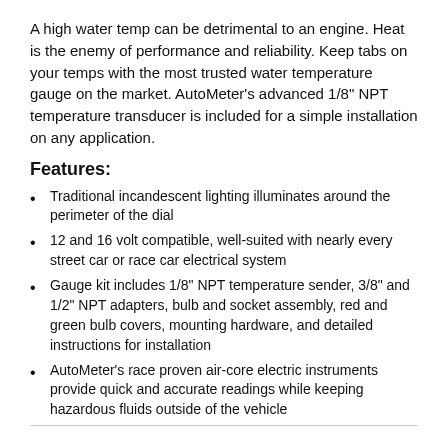A high water temp can be detrimental to an engine. Heat is the enemy of performance and reliability. Keep tabs on your temps with the most trusted water temperature gauge on the market. AutoMeter's advanced 1/8" NPT temperature transducer is included for a simple installation on any application.
Features:
Traditional incandescent lighting illuminates around the perimeter of the dial
12 and 16 volt compatible, well-suited with nearly every street car or race car electrical system
Gauge kit includes 1/8" NPT temperature sender, 3/8" and 1/2" NPT adapters, bulb and socket assembly, red and green bulb covers, mounting hardware, and detailed instructions for installation
AutoMeter's race proven air-core electric instruments provide quick and accurate readings while keeping hazardous fluids outside of the vehicle